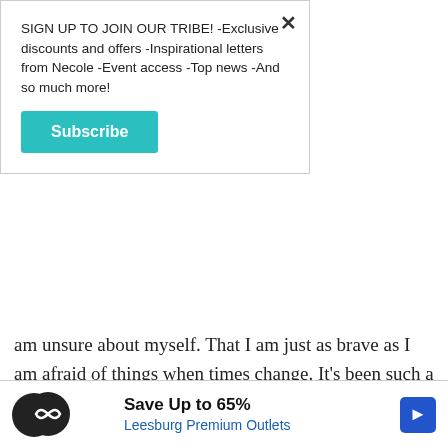SIGN UP TO JOIN OUR TRIBE! -Exclusive discounts and offers -Inspirational letters from Necole -Event access -Top news -And so much more!
Subscribe
am unsure about myself. That I am just as brave as I am afraid of things when times change. It's been such a beautiful journey to know that I don't have to filter any parts of my personality or how I show up in the world to receive God's best for me.
Last year was such a tumultuous one, one that served a great purpose, but left a lot of us
[Figure (other): Advertisement banner: Save Up to 65% Leesburg Premium Outlets with play button icon and navigation arrow logo]